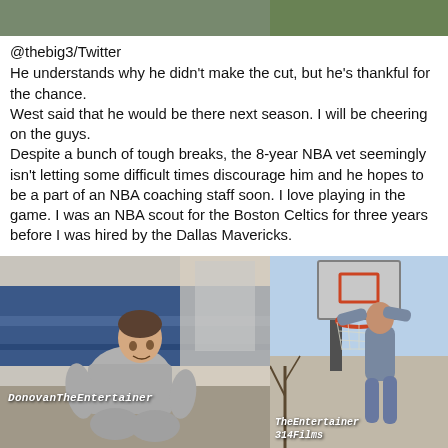[Figure (photo): Two side-by-side video thumbnails at top of page — left shows outdoor/nature scene in muted green-gray, right shows outdoor scene in olive-green tone]
@thebig3/Twitter
He understands why he didn't make the cut, but he's thankful for the chance.
West said that he would be there next season. I will be cheering on the guys.
Despite a bunch of tough breaks, the 8-year NBA vet seemingly isn't letting some difficult times discourage him and he hopes to be a part of an NBA coaching staff soon. I love playing in the game. I was an NBA scout for the Boston Celtics for three years before I was hired by the Dallas Mavericks.
[Figure (photo): Left video frame: man in gray sweatsuit sitting in a gym with blue bleachers, watermark 'DonovanTheEntertainer' in white italic. Right video frame: person hanging on a basketball hoop/backboard outdoors with bare trees, watermarks 'TheEntertainer' and '314Films' in white italic at bottom left.]